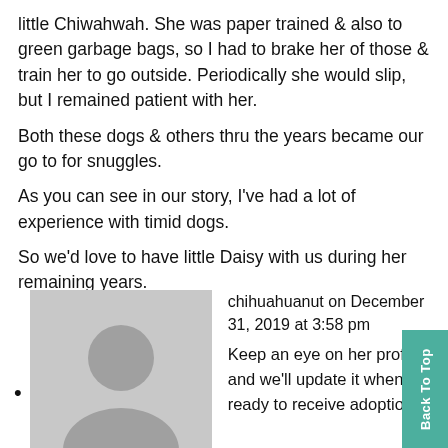little Chiwahwah. She was paper trained & also to green garbage bags, so I had to brake her of those & train her to go outside. Periodically she would slip, but I remained patient with her.
Both these dogs & others thru the years became our go to for snuggles.
As you can see in our story, I've had a lot of experience with timid dogs.
So we'd love to have little Daisy with us during her remaining years.
[Figure (illustration): Default user avatar: grey silhouette of a person on light grey background]
chihuahuanut on December 31, 2019 at 3:58 pm
Keep an eye on her profile and we'll update it when she's ready to receive adoption